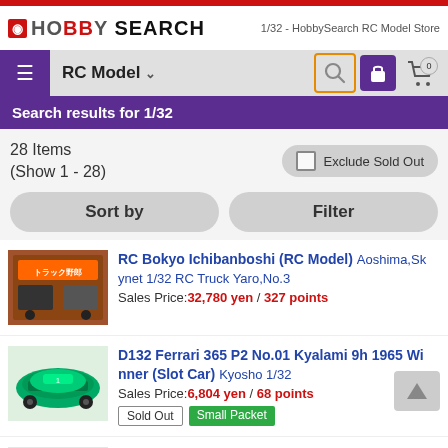HobbySearch RC Model Store
Search results for 1/32
28 Items (Show 1 - 28)
RC Bokyo Ichibanboshi (RC Model) Aoshima, Skynet 1/32 RC Truck Yaro,No.3 — Sales Price: 32,780 yen / 327 points
D132 Ferrari 365 P2 No.01 Kyalami 9h 1965 Winner (Slot Car) Kyosho 1/32 — Sales Price: 6,804 yen / 68 points — Sold Out, Small Packet
D132 Ferrari 365 P2 `North American Racing Team` No.18 (Slot Car) Kyosho 1/32